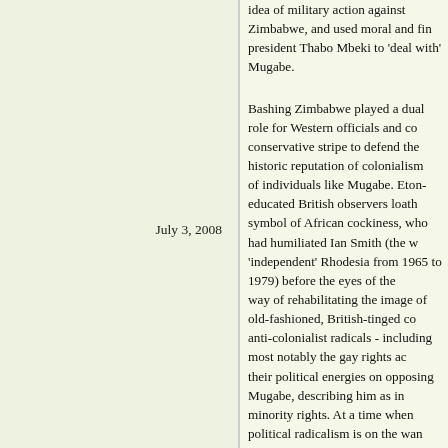idea of military action against Zimbabwe, and used moral and financial pressure on South African president Thabo Mbeki to 'deal with' Mugabe.
Bashing Zimbabwe played a dual role for Western officials and commentators of a conservative stripe to defend the historic reputation of colonialism and the record of individuals like Mugabe. Eton-educated British observers loathed Mugabe as a symbol of African cockiness, who had humiliated Ian Smith (the white ruler of 'independent' Rhodesia from 1965 to 1979) before the eyes of the world. It was a way of rehabilitating the image of old-fashioned, British-tinged colonialism. For anti-colonialist radicals - including most notably the gay rights activists - focusing their political energies on opposing Mugabe, describing him as inimical to minority rights. At a time when political radicalism is on the wane, they could recover their old campaigning spirit by taking potshots at the easy target of Mugabe. Indeed, radicals often led the charge for tougher economic and political pressure. And frequently, they got what they asked for.
On the basis of little more than the fact that they needed a focus for their energies, governments have put Zimbabwe into an economic straitjacket and the results of the sanctions, blackmail and withdrawal of trade have helped to produce. And since then the relentless backdoor political interventions have disempowered the MDC. The dynamic of Western intervention caused Mugabe to become more entrenched in power, and it encouraged the MDC to look to Western officials and radical groups, rather than to build a meaningful grassroots movement inside Zimbabwe. Indeed, observers inside Zimbabwe, both during minor street protests last year and during the election period, actually seem quite resigned about Zimbabwe's fate. As one reporter noted, 'the MDC has been able to mobilise tens of thousands of people…' (18) Lots of Western media footage shows Zimbabweans queuing up for hours to buy a newspaper for the simple reason to read about the elections. This footage is supposed to show how bad things are in Zimbabwe; it also reveals something else: that the West's attempted strangulation
July 3, 2008